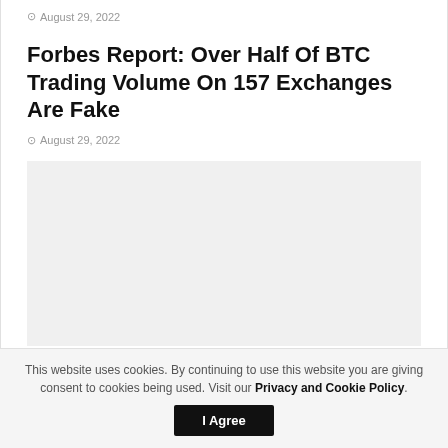August 29, 2022
Forbes Report: Over Half Of BTC Trading Volume On 157 Exchanges Are Fake
August 29, 2022
[Figure (other): Gray placeholder image block]
This website uses cookies. By continuing to use this website you are giving consent to cookies being used. Visit our Privacy and Cookie Policy.